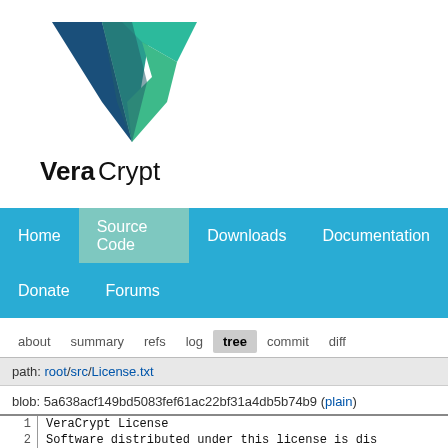[Figure (logo): VeraCrypt logo with stylized V in blue and teal/green, with text 'VeraCrypt' below]
Home | Source Code | Downloads | Documentation | Donate | Forums
about  summary  refs  log  tree  commit  diff
path: root/src/License.txt
blob: 5a638acf149bd5083fef61ac22bf31a4db5b74b9 (plain)
| line | code |
| --- | --- |
| 1 | VeraCrypt License |
| 2 | Software distributed under this license is dis |
| 3 | IS" BASIS WITHOUT WARRANTIES OF ANY KIND. THE |
| 4 | DISTRIBUTORS OF THE SOFTWARE DISCLAIM ANY LIAB |
| 5 | USES, COPIES, MODIFIES, OR (RE)DISTRIBUTES ANY |
| 6 | SOFTWARE IS, BY SUCH ACTION(S), ACCEPTING AND |
| 7 | BOUND BY ALL TERMS AND CONDITIONS OF THIS LICE |
| 8 | ACCEPT THEM. DO NOT USE, COPY, MODIFY, NOR (RE |